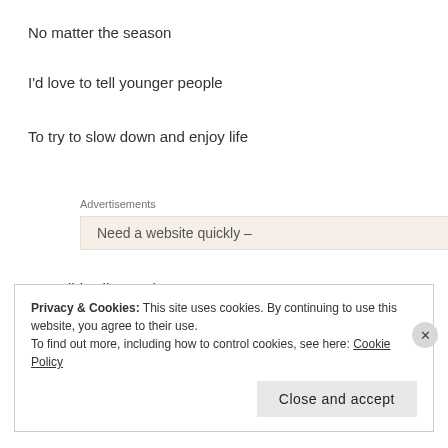No matter the season
I'd love to tell younger people
To try to slow down and enjoy life
Advertisements
[Figure (other): Advertisement banner showing partial text 'Need a website quickly –']
But I didn't listen when young
I screamed about mistrusting anyone over thirty
Privacy & Cookies: This site uses cookies. By continuing to use this website, you agree to their use.
To find out more, including how to control cookies, see here: Cookie Policy
Close and accept